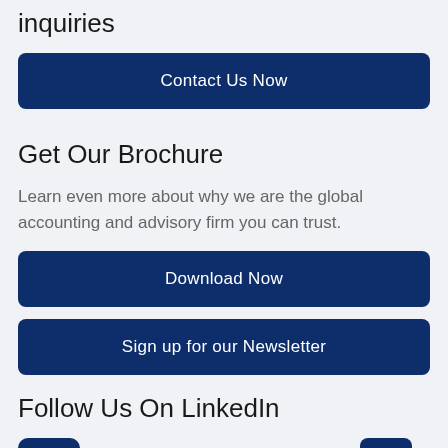inquiries
[Figure (other): Contact Us Now button — dark navy blue rounded rectangle]
Get Our Brochure
Learn even more about why we are the global accounting and advisory firm you can trust.
[Figure (other): Download Now button — dark navy blue rounded rectangle]
[Figure (other): Sign up for our Newsletter button — dark navy blue rounded rectangle]
Follow Us On LinkedIn
[Figure (logo): LinkedIn icon — white 'in' logo on dark navy square]
[Figure (other): Scroll-to-top button — dark navy square with upward chevron]